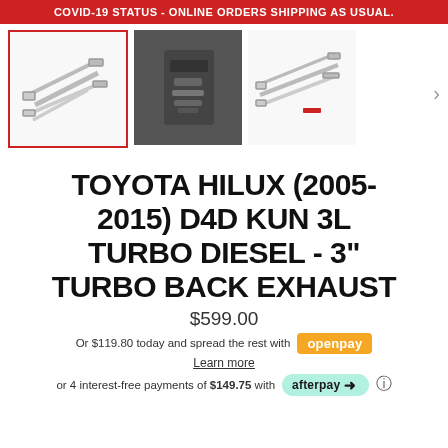COVID-19 STATUS - ONLINE ORDERS SHIPPING AS USUAL.
[Figure (photo): Product gallery showing three thumbnail images of Toyota Hilux exhaust system. First image (selected, red border) shows stainless steel exhaust pipes on white background. Second image shows undercarriage view of installed exhaust. Third image shows another view of the exhaust system on white background. Arrow navigation on right.]
TOYOTA HILUX (2005-2015) D4D KUN 3L TURBO DIESEL - 3" TURBO BACK EXHAUST
$599.00
Or $119.80 today and spread the rest with openpay
Learn more
or 4 interest-free payments of $149.75 with afterpay